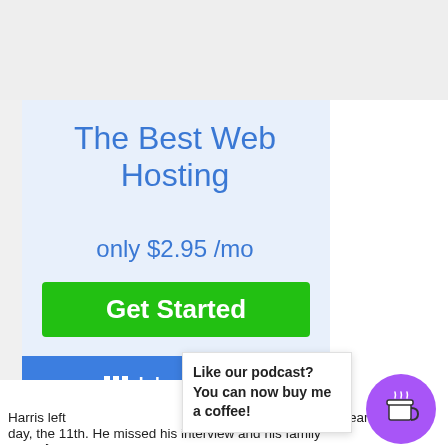[Figure (infographic): Bluehost web hosting advertisement. Light blue background with text 'The Best Web Hosting only $2.95/mo', green 'Get Started' button, and blue Bluehost logo bar at bottom.]
Harris left the day of Seattle. H
Like our podcast? You can now buy me a coffee!
ry early on dri follo
day, the 11th. He missed his interview and his family